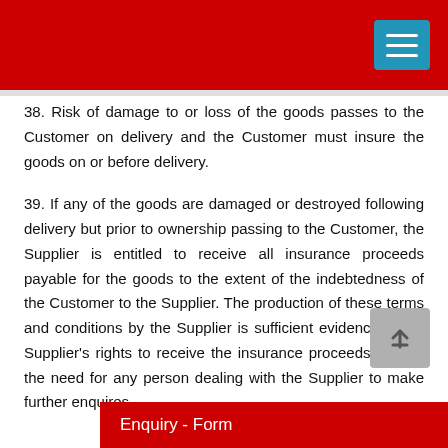38. Risk of damage to or loss of the goods passes to the Customer on delivery and the Customer must insure the goods on or before delivery.
39. If any of the goods are damaged or destroyed following delivery but prior to ownership passing to the Customer, the Supplier is entitled to receive all insurance proceeds payable for the goods to the extent of the indebtedness of the Customer to the Supplier. The production of these terms and conditions by the Supplier is sufficient evidence of the Supplier's rights to receive the insurance proceeds without the need for any person dealing with the Supplier to make further enquires.
Enquiry - Form